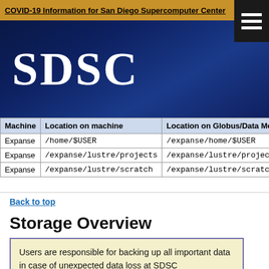COVID-19 Information for San Diego Supercomputer Center
[Figure (logo): SDSC logo in white text on dark navy background]
| Machine | Location on machine | Location on Globus/Data Move |
| --- | --- | --- |
| Expanse | /home/$USER | /expanse/home/$USER |
| Expanse | /expanse/lustre/projects | /expanse/lustre/project |
| Expanse | /expanse/lustre/scratch | /expanse/lustre/scratch |
Back to top
Storage Overview
Users are responsible for backing up all important data in case of unexpected data loss at SDSC